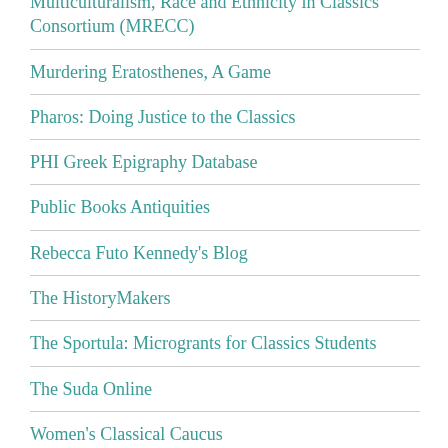Multiculturalism, Race and Ethnicity in Classics Consortium (MRECC)
Murdering Eratosthenes, A Game
Pharos: Doing Justice to the Classics
PHI Greek Epigraphy Database
Public Books Antiquities
Rebecca Futo Kennedy's Blog
The HistoryMakers
The Sportula: Microgrants for Classics Students
The Suda Online
Women's Classical Caucus